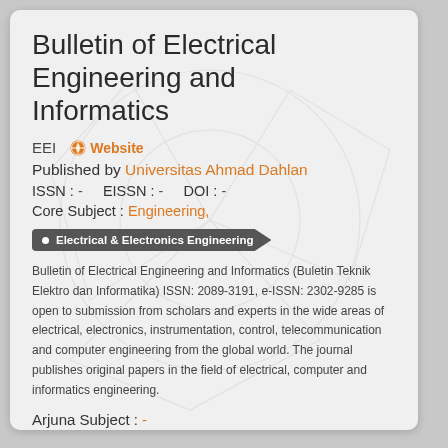Bulletin of Electrical Engineering and Informatics
EEI   Website
Published by Universitas Ahmad Dahlan
ISSN : -   EISSN : -   DOI : -
Core Subject : Engineering,
Electrical & Electronics Engineering
Bulletin of Electrical Engineering and Informatics (Buletin Teknik Elektro dan Informatika) ISSN: 2089-3191, e-ISSN: 2302-9285 is open to submission from scholars and experts in the wide areas of electrical, electronics, instrumentation, control, telecommunication and computer engineering from the global world. The journal publishes original papers in the field of electrical, computer and informatics engineering.
Arjuna Subject : -